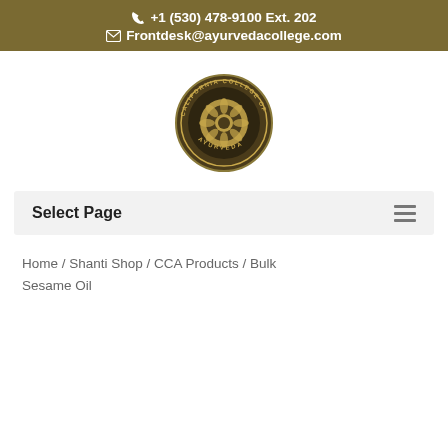+1 (530) 478-9100 Ext. 202
Frontdesk@ayurvedacollege.com
[Figure (logo): California College of Ayurveda circular seal/logo in gold and dark tones]
Select Page
Home / Shanti Shop / CCA Products / Bulk Sesame Oil